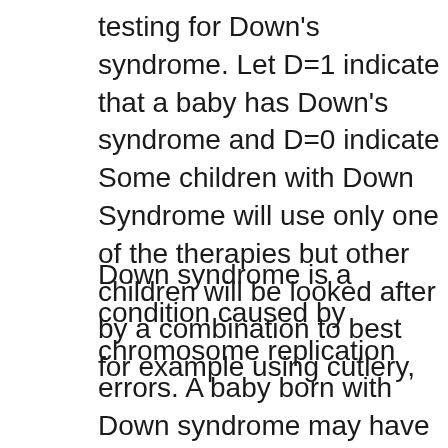testing for Down's syndrome. Let D=1 indicate that a baby has Down's syndrome and D=0 indicate Some children with Down Syndrome will use only one of the therapies but other children will be looked after by a combination to best for example using cutlery,
Down syndrome is a condition caused by chromosome replication errors. A baby born with Down syndrome may have symptoms such as unusual facial features, low IQ, and Start studying Down Syndrome. Learn vocabulary, terms, and more with flashcards, games, and other study tools.